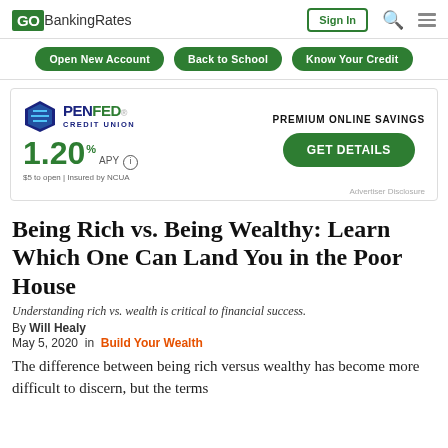GOBankingRates | Sign In
[Figure (other): PenFed Credit Union advertisement banner showing 1.20% APY Premium Online Savings with Get Details button]
Being Rich vs. Being Wealthy: Learn Which One Can Land You in the Poor House
Understanding rich vs. wealth is critical to financial success.
By Will Healy
May 5, 2020  in  Build Your Wealth
The difference between being rich versus wealthy has become more difficult to discern, but the terms